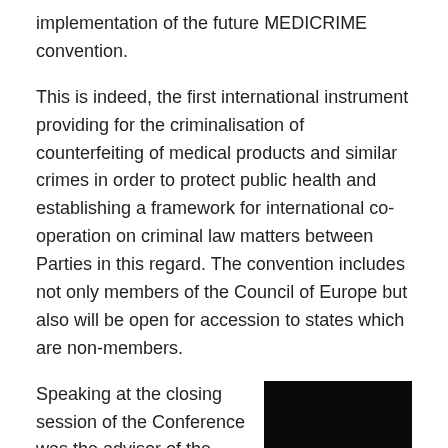implementation of the future MEDICRIME convention.
This is indeed, the first international instrument providing for the criminalisation of counterfeiting of medical products and similar crimes in order to protect public health and establishing a framework for international co-operation on criminal law matters between Parties in this regard. The convention includes not only members of the Council of Europe but also will be open for accession to states which are non-members.
[Figure (photo): A clear contact lens resting on a fingertip, photographed against a dark background.]
Speaking at the closing session of the Conference was the advisor of the Mexican Federal Commission for Protection Against Health Risks (Cofepris), Agustin Alberdi Angeles. He described the situation in Mexico. He started by saying that the most consumed and confiscated counterfeit drugs in Mexico are Viagra, Cialis, and Aspirin. Adding, he said that free medical samples are also sold, the most common being: Humulin, contact lenses and condoms. In addition, he